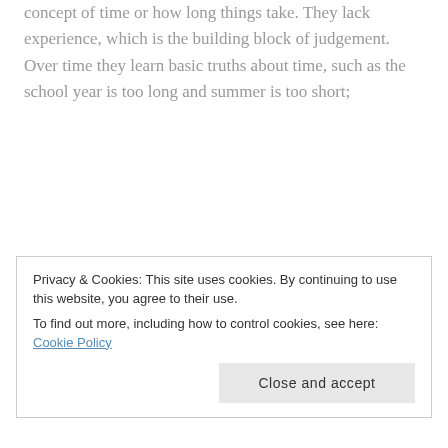concept of time or how long things take. They lack experience, which is the building block of judgement. Over time they learn basic truths about time, such as the school year is too long and summer is too short;
We adults know better, except when it comes to change. We understand change takes time but we don't have the patience to see it through. Our five year old self questions how long it will take. We tire of the questions, so we give
Privacy & Cookies: This site uses cookies. By continuing to use this website, you agree to their use. To find out more, including how to control cookies, see here: Cookie Policy